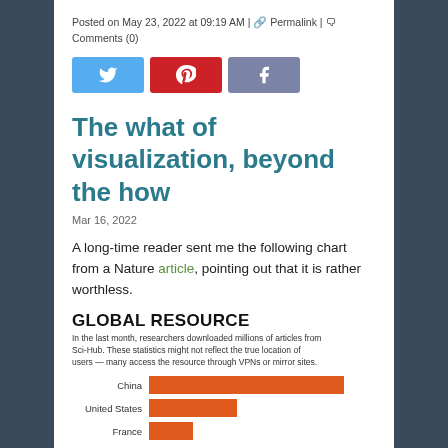Posted on May 23, 2022 at 09:19 AM | Permalink | Comments (0)
[Figure (illustration): Three social media share buttons: Twitter (blue), Pinterest (red), Facebook (muted purple)]
The what of visualization, beyond the how
Mar 16, 2022
A long-time reader sent me the following chart from a Nature article, pointing out that it is rather worthless.
[Figure (bar-chart): Horizontal bar chart showing Sci-Hub downloads by country. In the last month, researchers downloaded millions of articles from Sci-Hub. These statistics might not reflect the true location of users — many access the resource through VPNs or mirror sites.]